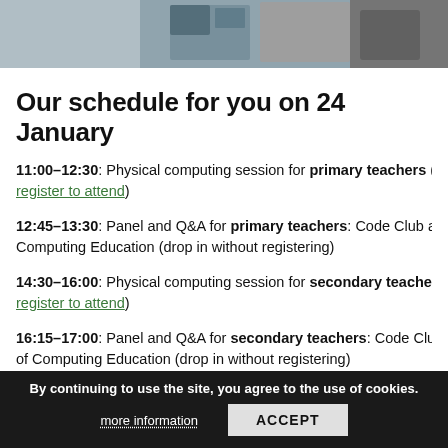[Figure (photo): Partial photo of people at a computing session, cropped at top of page]
Our schedule for you on 24 January
11:00–12:30: Physical computing session for primary teachers (register to attend)
12:45–13:30: Panel and Q&A for primary teachers: Code Club and Computing Education (drop in without registering)
14:30–16:00: Physical computing session for secondary teachers (register to attend)
16:15–17:00: Panel and Q&A for secondary teachers: Code Club of Computing Education (drop in without registering)
17:30–21:00: Informal meet and greet with the Raspberry Pi team without registering)
By continuing to use the site, you agree to the use of cookies.
more information   ACCEPT